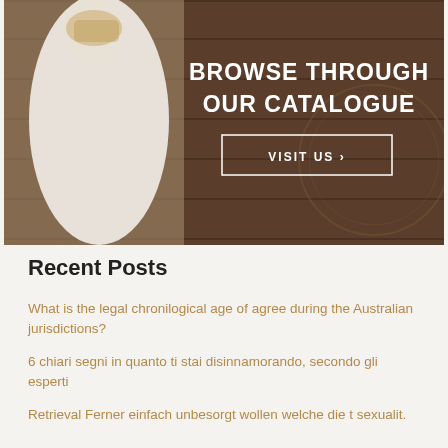[Figure (photo): Wedding dress banner image with wooden background. Text overlay reads 'BROWSE THROUGH OUR CATALOGUE' with a 'VISIT US ›' button below.]
Recent Posts
What is the legal chronilogical age of agree during the Australian jurisdictions?
6 chiari segni in quanto ti stai disinnamorando, secondo gli esperti
Retrieval Ferner einfach unbesorgt wollen welche die t sexualit.